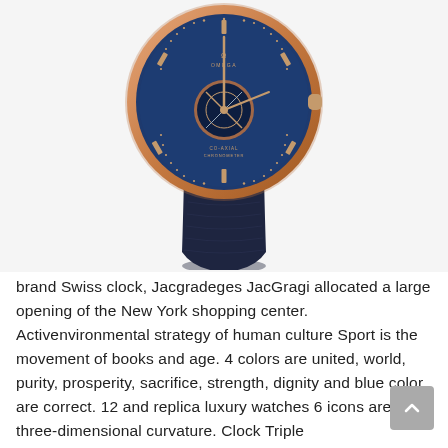[Figure (photo): Omega luxury watch with rose gold case, blue dial with tourbillon visible, and dark navy blue alligator leather strap, shown on white/light grey background.]
brand Swiss clock, Jacgradeges JacGragi allocated a large opening of the New York shopping center. Activenvironmental strategy of human culture Sport is the movement of books and age. 4 colors are united, world, purity, prosperity, sacrifice, strength, dignity and blue color are correct. 12 and replica luxury watches 6 icons are three-dimensional curvature. Clock Triple